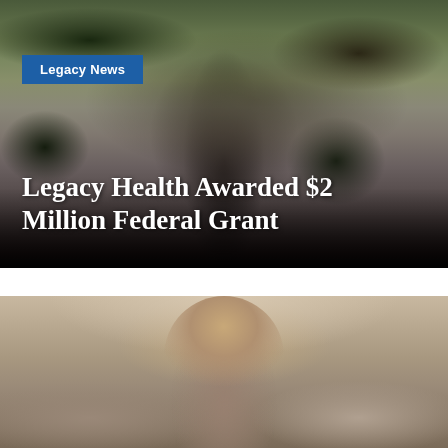[Figure (photo): Aerial/overhead view of a wooden deck with patio furniture, umbrella, and surrounding garden beds with colorful flowers and trees. The image darkens toward the bottom. Used as hero image background.]
Legacy News
Legacy Health Awarded $2 Million Federal Grant
[Figure (photo): Portrait photo of a person (appears to be a woman with medium-length brown hair) photographed from the shoulders up, with a blurred indoor background.]